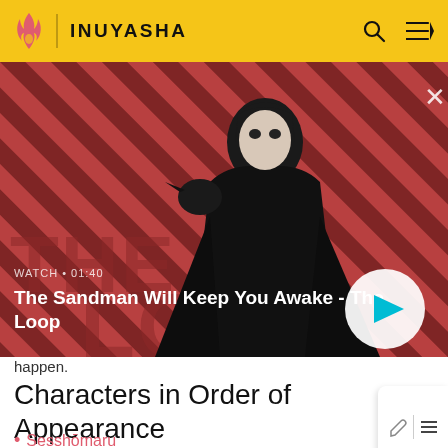INUYASHA
[Figure (screenshot): Video thumbnail for 'The Sandman Will Keep You Awake - The Loop' showing a dark-cloaked figure with a raven against a red diagonal-striped background. Shows WATCH • 01:40 label and a play button.]
happen.
Characters in Order of Appearance
Sesshōmaru